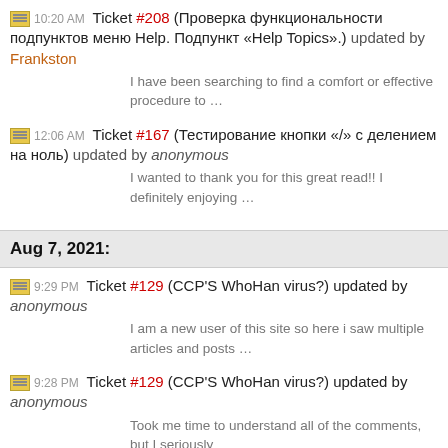10:20 AM Ticket #208 (Проверка функциональности подпунктов меню Help. Подпункт «Help Topics».) updated by Frankston — I have been searching to find a comfort or effective procedure to …
12:06 AM Ticket #167 (Тестирование кнопки «/» с делением на ноль) updated by anonymous — I wanted to thank you for this great read!! I definitely enjoying …
Aug 7, 2021:
9:29 PM Ticket #129 (CCP'S WhoHan virus?) updated by anonymous — I am a new user of this site so here i saw multiple articles and posts …
9:28 PM Ticket #129 (CCP'S WhoHan virus?) updated by anonymous — Took me time to understand all of the comments, but I seriously